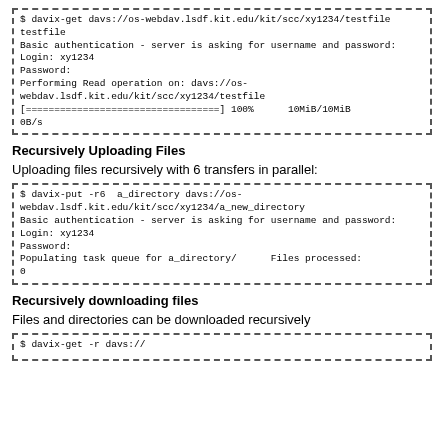[Figure (screenshot): Terminal code box showing davix-get command output with authentication and progress bar]
Recursively Uploading Files
Uploading files recursively with 6 transfers in parallel:
[Figure (screenshot): Terminal code box showing davix-put -r6 command with authentication and task queue output]
Recursively downloading files
Files and directories can be downloaded recursively
[Figure (screenshot): Terminal code box showing davix-get command (partial, cut off at bottom)]